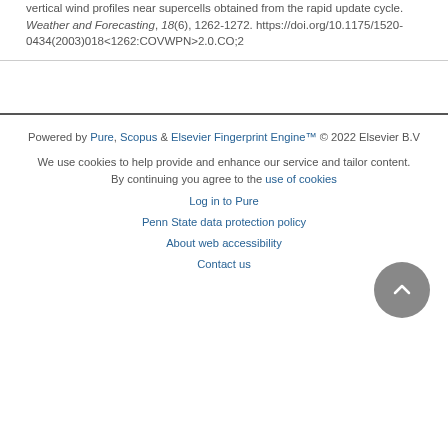vertical wind profiles near supercells obtained from the rapid update cycle. Weather and Forecasting, 18(6), 1262-1272. https://doi.org/10.1175/1520-0434(2003)018<1262:COVWPN>2.0.CO;2
Powered by Pure, Scopus & Elsevier Fingerprint Engine™ © 2022 Elsevier B.V
We use cookies to help provide and enhance our service and tailor content. By continuing you agree to the use of cookies
Log in to Pure
Penn State data protection policy
About web accessibility
Contact us